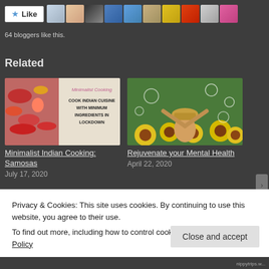[Figure (screenshot): Like button with star icon and row of blogger avatar thumbnails]
64 bloggers like this.
Related
[Figure (photo): Minimalist Cooking book cover with Indian food ingredients]
Minimalist Indian Cooking: Samosas
July 17, 2020
[Figure (photo): Woman in sunflower field with arms raised and bubbles floating]
Rejuvenate your Mental Health
April 22, 2020
Privacy & Cookies: This site uses cookies. By continuing to use this website, you agree to their use.
To find out more, including how to control cookies, see here: Cookie Policy